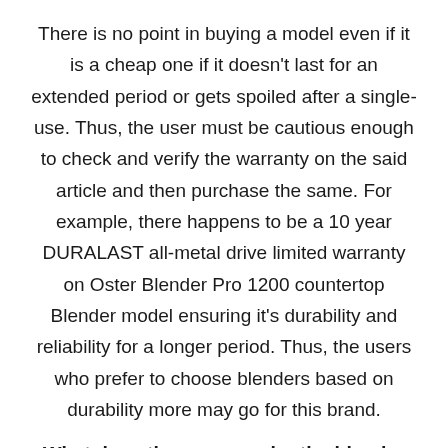There is no point in buying a model even if it is a cheap one if it doesn't last for an extended period or gets spoiled after a single-use. Thus, the user must be cautious enough to check and verify the warranty on the said article and then purchase the same. For example, there happens to be a 10 year DURALAST all-metal drive limited warranty on Oster Blender Pro 1200 countertop Blender model ensuring it's durability and reliability for a longer period. Thus, the users who prefer to choose blenders based on durability more may go for this brand.
What does the user require the blender for?